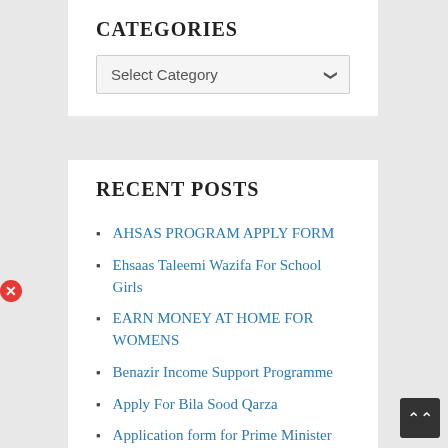CATEGORIES
Select Category
RECENT POSTS
AHSAS PROGRAM APPLY FORM
Ehsaas Taleemi Wazifa For School Girls
EARN MONEY AT HOME FOR WOMENS
Benazir Income Support Programme
Apply For Bila Sood Qarza
Application form for Prime Minister